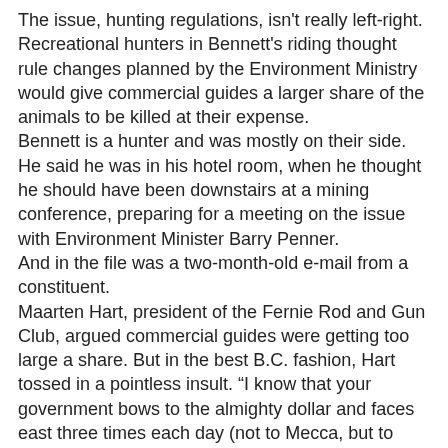The issue, hunting regulations, isn't really left-right. Recreational hunters in Bennett's riding thought rule changes planned by the Environment Ministry would give commercial guides a larger share of the animals to be killed at their expense. Bennett is a hunter and was mostly on their side. He said he was in his hotel room, when he thought he should have been downstairs at a mining conference, preparing for a meeting on the issue with Environment Minister Barry Penner. And in the file was a two-month-old e-mail from a constituent. Maarten Hart, president of the Fernie Rod and Gun Club, argued commercial guides were getting too large a share. But in the best B.C. fashion, Hart tossed in a pointless insult. “I know that your government bows to the almighty dollar and faces east three times each day (not to Mecca, but to Wall Street),” Hart wrote, an approach hardly likely to win an ally. Bennett topped him. “It is my understanding that you are an American, so I don't give a shit what your opinion is,” he wrote. Hart was “fool,” maybe an U.S. spy aiming to block coal mines and “a self-inflated, pompous, American know-it-all.”